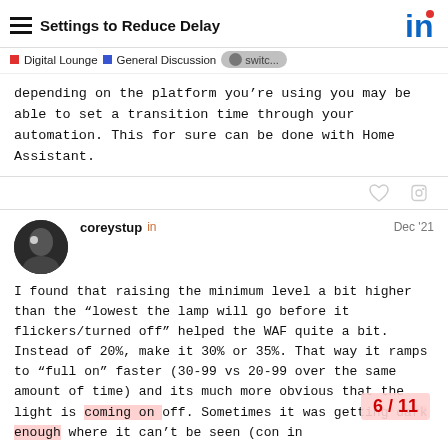Settings to Reduce Delay
Digital Lounge  General Discussion  switc...
depending on the platform you’re using you may be able to set a transition time through your automation. This for sure can be done with Home Assistant.
coreystup  in  Dec ‘21
I found that raising the minimum level a bit higher than the “lowest the lamp will go before it flickers/turned off” helped the WAF quite a bit. Instead of 20%, make it 30% or 35%. That way it ramps to “full on” faster (30-99 vs 20-99 over the same amount of time) and its much more obvious that the light is coming on or off. Sometimes it was getting dark enough where it can’t be seen (con in
6 / 11